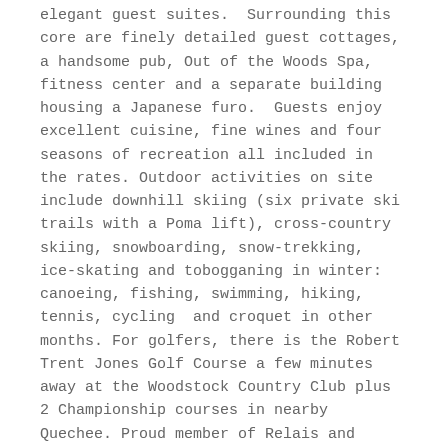elegant guest suites.  Surrounding this core are finely detailed guest cottages, a handsome pub, Out of the Woods Spa, fitness center and a separate building housing a Japanese furo.  Guests enjoy excellent cuisine, fine wines and four seasons of recreation all included in the rates. Outdoor activities on site include downhill skiing (six private ski trails with a Poma lift), cross-country skiing, snowboarding, snow-trekking, ice-skating and tobogganing in winter: canoeing, fishing, swimming, hiking, tennis, cycling  and croquet in other months. For golfers, there is the Robert Trent Jones Golf Course a few minutes away at the Woodstock Country Club plus 2 Championship courses in nearby Quechee. Proud member of Relais and Chateaux.
Terms & Conditions
A spirit of gracious hospitality prevails at Twin Farms.  Meals are generally taken individually or occasionally enfamille in a variety of locations around the property.  Guests are